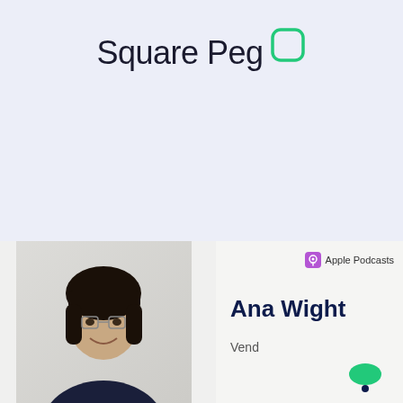[Figure (logo): Square Peg logo with rounded square icon in green outline]
[Figure (photo): Podcast card featuring Ana Wight from Vend, shown on Apple Podcasts, with a photo of a woman with dark hair wearing a dark top, and a Square Peg icon at the bottom right]